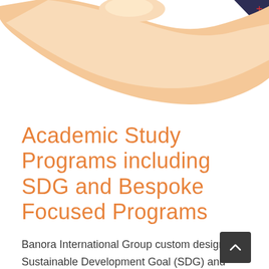[Figure (illustration): Decorative illustration showing a hand or wave shape in peach/orange tones at the top of the page, with a dark navy triangle decoration in the top-right corner with a red plus sign.]
Academic Study Programs including SDG and Bespoke Focused Programs
Banora International Group custom designs Sustainable Development Goal (SDG) and bespoke focused programs to meet our client's academic goals. Each program is ambitious, innovative and result focused combining unique